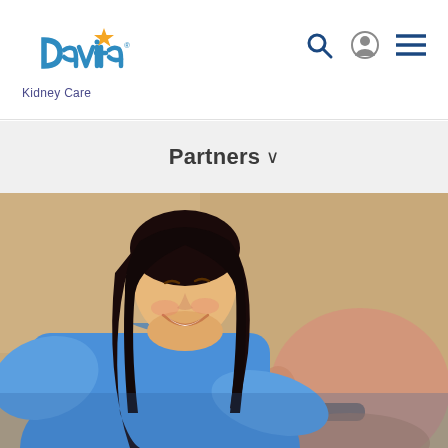[Figure (logo): DaVita Kidney Care logo with orange star and blue text]
[Figure (other): Search icon, person/account icon, and hamburger menu icon in navy blue]
Partners ∨
[Figure (photo): A smiling female healthcare worker in blue scrubs leaning toward an elderly male patient with glasses, warm clinical background]